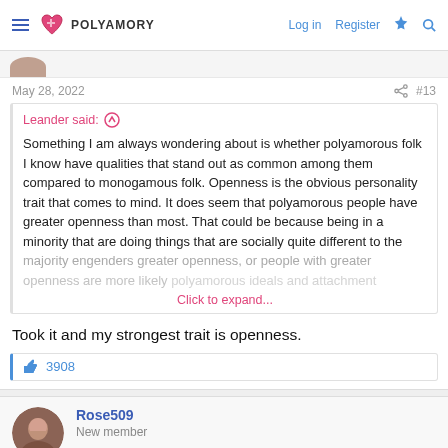POLYAMORY | Log in | Register
May 28, 2022   #13
Leander said:
Something I am always wondering about is whether polyamorous folk I know have qualities that stand out as common among them compared to monogamous folk. Openness is the obvious personality trait that comes to mind. It does seem that polyamorous people have greater openness than most. That could be because being in a minority that are doing things that are socially quite different to the majority engenders greater openness, or people with greater openness are more likely... Click to expand...
Took it and my strongest trait is openness.
3908
Rose509
New member